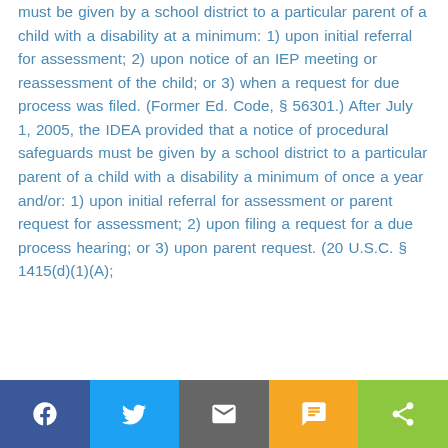must be given by a school district to a particular parent of a child with a disability at a minimum: 1) upon initial referral for assessment; 2) upon notice of an IEP meeting or reassessment of the child; or 3) when a request for due process was filed. (Former Ed. Code, § 56301.) After July 1, 2005, the IDEA provided that a notice of procedural safeguards must be given by a school district to a particular parent of a child with a disability a minimum of once a year and/or: 1) upon initial referral for assessment or parent request for assessment; 2) upon filing a request for a due process hearing; or 3) upon parent request. (20 U.S.C. § 1415(d)(1)(A);